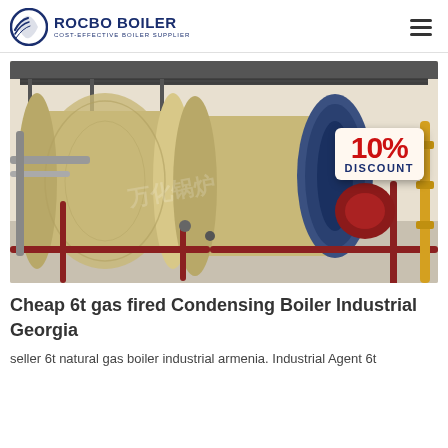ROCBO BOILER — COST-EFFECTIVE BOILER SUPPLIER
[Figure (photo): Industrial gas fired condensing boilers in a facility, large cylindrical tan/beige boilers with blue end caps, red/maroon piping, metal walkway overhead, with a '10% DISCOUNT' badge overlaid in the top-right area of the image.]
Cheap 6t gas fired Condensing Boiler Industrial Georgia
seller 6t natural gas boiler industrial armenia. Industrial Agent 6t